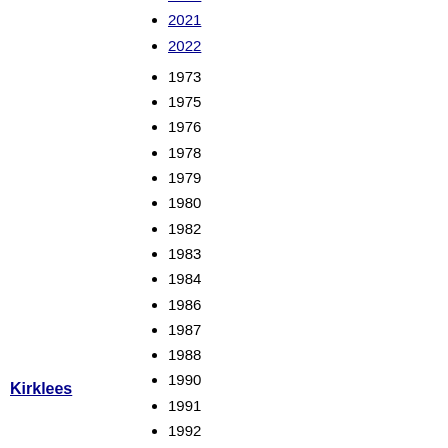2019
2021
2022
1973
1975
1976
1978
1979
1980
1982
1983
1984
1986
1987
1988
1990
1991
1992
1994
1995
1996
1998
1999
2000
2002
Kirklees